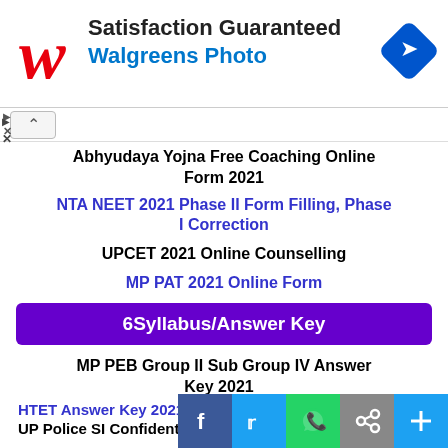[Figure (screenshot): Walgreens Photo advertisement banner with logo and 'Satisfaction Guaranteed / Walgreens Photo' text and a blue diamond navigation icon]
Abhyudaya Yojna Free Coaching Online Form 2021
NTA NEET 2021 Phase II Form Filling, Phase I Correction
UPCET 2021 Online Counselling
MP PAT 2021 Online Form
6Syllabus/Answer Key
MP PEB Group II Sub Group IV Answer Key 2021
HTET Answer Key 2021 PRT TGT PGT
UP Police SI Confidential, ASI Answer Key